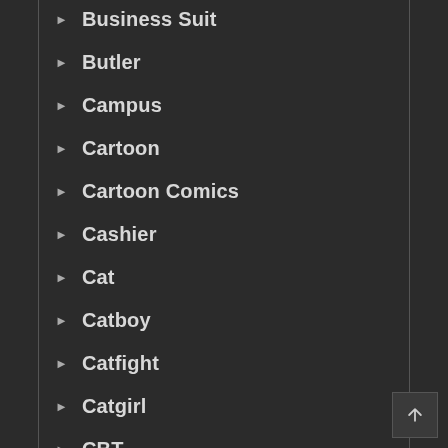Business Suit
Butler
Campus
Cartoon
Cartoon Comics
Cashier
Cat
Catboy
Catfight
Catgirl
CBT
Centaur
Cervix Penetration